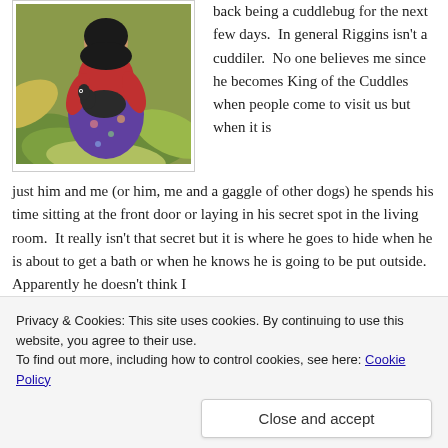[Figure (photo): A person in a red top and floral skirt sitting outdoors among large green and yellow leaves, holding a dark-colored dog.]
back being a cuddlebug for the next few days.  In general Riggins isn't a cuddiler.  No one believes me since he becomes King of the Cuddles when people come to visit us but when it is just him and me (or him, me and a gaggle of other dogs) he spends his time sitting at the front door or laying in his secret spot in the living room.  It really isn't that secret but it is where he goes to hide when he is about to get a bath or when he knows he is going to be put outside.  Apparently he doesn't think I
Privacy & Cookies: This site uses cookies. By continuing to use this website, you agree to their use.
To find out more, including how to control cookies, see here: Cookie Policy
Close and accept